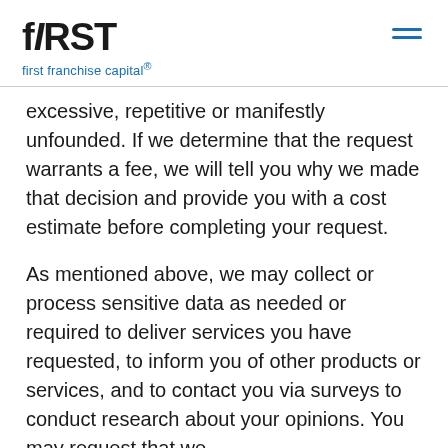fIRST first franchise capital®
excessive, repetitive or manifestly unfounded. If we determine that the request warrants a fee, we will tell you why we made that decision and provide you with a cost estimate before completing your request.
As mentioned above, we may collect or process sensitive data as needed or required to deliver services you have requested, to inform you of other products or services, and to contact you via surveys to conduct research about your opinions. You may request that we